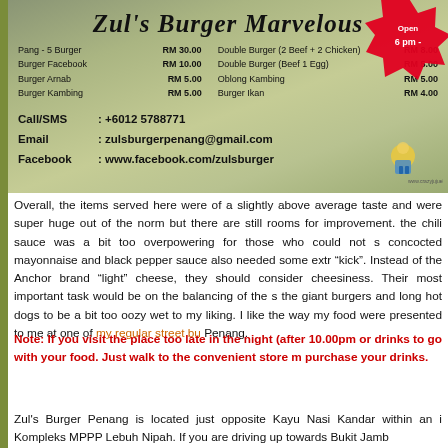[Figure (photo): Zul's Burger Marvelous restaurant banner with menu items, contact information, logo, and a red promotional badge. Background is a muted olive/grey sky texture.]
Overall, the items served here were of a slightly above average taste and were super huge out of the norm but there are still rooms for improvement. the chili sauce was a bit too overpowering for those who could not s... concocted mayonnaise and black pepper sauce also needed some extr... "kick". Instead of the Anchor brand "light" cheese, they should consider cheesiness. Their most important task would be on the balancing of the s... the giant burgers and long hot dogs to be a bit too oozy wet to my liking. I like the way my food were presented to me at one of my regular street bu... Penang.
Note: If you visit the place too late in the night (after 10.00pm or drinks to go with your food. Just walk to the convenient store m purchase your drinks.
Zul's Burger Penang is located just opposite Kayu Nasi Kandar within an i Kompleks MPPP Lebuh Nipah. If you are driving up towards Bukit Jamb...